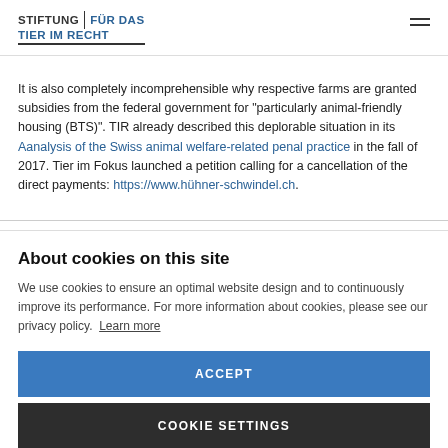STIFTUNG | FÜR DAS TIER IM RECHT
It is also completely incomprehensible why respective farms are granted subsidies from the federal government for "particularly animal-friendly housing (BTS)". TIR already described this deplorable situation in its Aanalysis of the Swiss animal welfare-related penal practice in the fall of 2017. Tier im Fokus launched a petition calling for a cancellation of the direct payments: https://www.hühner-schwindel.ch.
About cookies on this site
We use cookies to ensure an optimal website design and to continuously improve its performance. For more information about cookies, please see our privacy policy. Learn more
ACCEPT
COOKIE SETTINGS